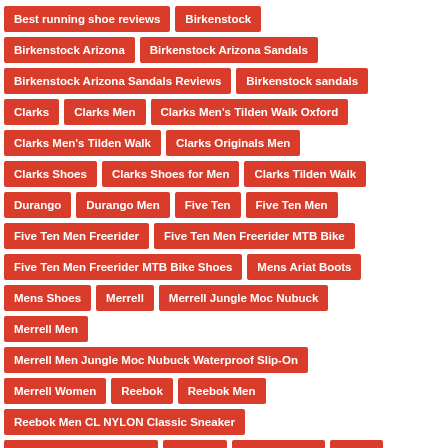Best running shoe reviews
Birkenstock
Birkenstock Arizona
Birkenstock Arizona Sandals
Birkenstock Arizona Sandals Reviews
Birkenstock sandals
Clarks
Clarks Men
Clarks Men's Tilden Walk Oxford
Clarks Men's Tilden Walk
Clarks Originals Men
Clarks Shoes
Clarks Shoes for Men
Clarks Tilden Walk
Durango
Durango Men
Five Ten
Five Ten Men
Five Ten Men Freerider
Five Ten Men Freerider MTB Bike
Five Ten Men Freerider MTB Bike Shoes
Mens Ariat Boots
Mens Shoes
Merrell
Merrell Jungle Moc Nubuck
Merrell Men
Merrell Men Jungle Moc Nubuck Waterproof Slip-On
Merrell Women
Reebok
Reebok Men
Reebok Men CL NYLON Classic Sneaker
Running Shoes Reviews
Sandals
Shoe reviews
shoes
shoes review
shoes reviews
Snow Boot